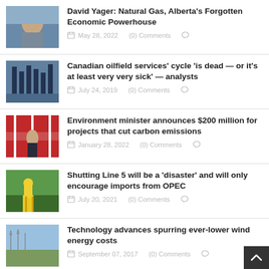David Yager: Natural Gas, Alberta's Forgotten Economic Powerhouse — May 28, 2022 (0) Comments
Canadian oilfield services' cycle 'is dead — or it's at least very very sick' — analysts — July 24, 2019 (0) Comments
Environment minister announces $200 million for projects that cut carbon emissions — January 28, 2022 (0) Comments
Shutting Line 5 will be a 'disaster' and will only encourage imports from OPEC — July 20, 2021 (0) Comments
Technology advances spurring ever-lower wind energy costs — September 07, 2017 (0) Comments